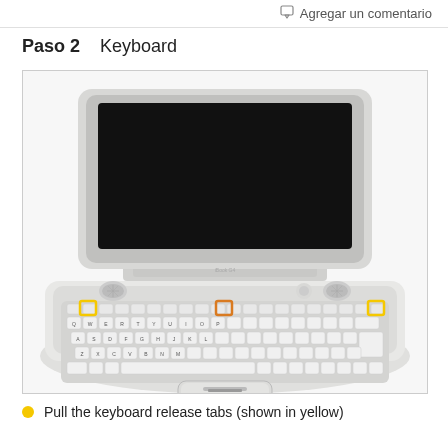Agregar un comentario
Paso 2    Keyboard
[Figure (photo): Top-down view of a white Apple iBook G4 laptop with the keyboard visible. Three screws are highlighted with colored squares: two with yellow borders on the left and right ends of the keyboard top row, and one with an orange border in the center. The keyboard shows QWERTY layout with white keys.]
Pull the keyboard release tabs (shown in yellow)